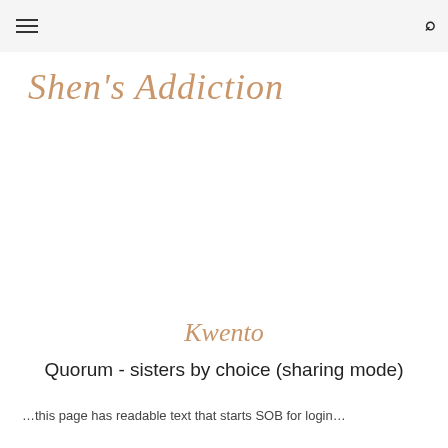☰  [search icon]
Shen's Addiction
Kwento
Quorum - sisters by choice (sharing mode)
…this page has readable text that starts SOB for login…